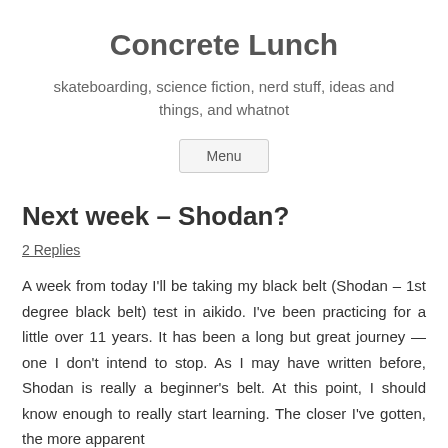Concrete Lunch
skateboarding, science fiction, nerd stuff, ideas and things, and whatnot
Menu
Next week – Shodan?
2 Replies
A week from today I'll be taking my black belt (Shodan – 1st degree black belt) test in aikido. I've been practicing for a little over 11 years. It has been a long but great journey — one I don't intend to stop. As I may have written before, Shodan is really a beginner's belt. At this point, I should know enough to really start learning. The closer I've gotten, the more apparent